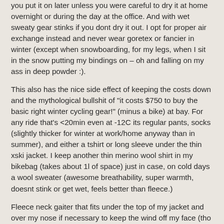you put it on later unless you were careful to dry it at home overnight or during the day at the office. And with wet sweaty gear stinks if you dont dry it out. I opt for proper air exchange instead and never wear goretex or fancier in winter (except when snowboarding, for my legs, when I sit in the snow putting my bindings on – oh and falling on my ass in deep powder :).
This also has the nice side effect of keeping the costs down and the mythological bullshit of "it costs $750 to buy the basic right winter cycling gear!" (minus a bike) at bay. For any ride that's <20min even at -12C its regular pants, socks (slightly thicker for winter at work/home anyway than in summer), and either a tshirt or long sleeve under the thin xski jacket. I keep another thin merino wool shirt in my bikebag (takes about 1l of space) just in case, on cold days a wool sweater (awesome breathability, super warmth, doesnt stink or get wet, feels better than fleece.)
Fleece neck gaiter that fits under the top of my jacket and over my nose if necessary to keep the wind off my face (tho it'll fill with rime in real cold, kinda a fun badge to walk into a place with a mouth and pignose pattern of serious ice on it sometimes, but dries quick) – but often i just hook it on my chin, keep wind off neck but enjoy the crisp cold on my face if its not too brutal. In serious cold